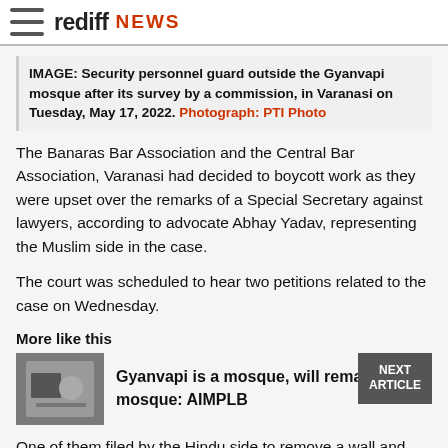rediff NEWS
IMAGE: Security personnel guard outside the Gyanvapi mosque after its survey by a commission, in Varanasi on Tuesday, May 17, 2022. Photograph: PTI Photo
The Banaras Bar Association and the Central Bar Association, Varanasi had decided to boycott work as they were upset over the remarks of a Special Secretary against lawyers, according to advocate Abhay Yadav, representing the Muslim side in the case.
The court was scheduled to hear two petitions related to the case on Wednesday.
More like this
Gyanvapi is a mosque, will remain a mosque: AIMPLB
One of them filed by the Hindu side to remove a wall and debris around a 'Shivling' which was claimed to have been found during a court-mandated videography survey, and the other moved by District Government Advocate